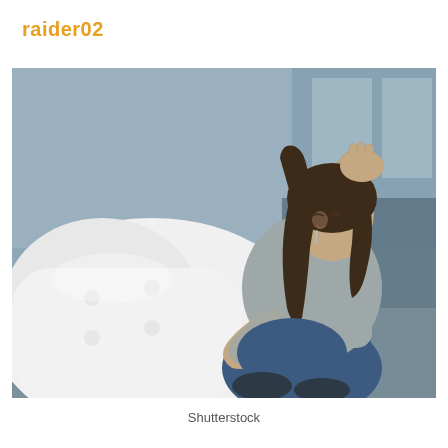raider02
[Figure (photo): A young woman with long brown hair wearing a grey long-sleeve shirt and jeans, sitting on the floor next to a white sofa, crying and holding her head with one hand while hugging her knees with the other arm. The background is a blurred indoor/outdoor setting with muted grey tones.]
Shutterstock